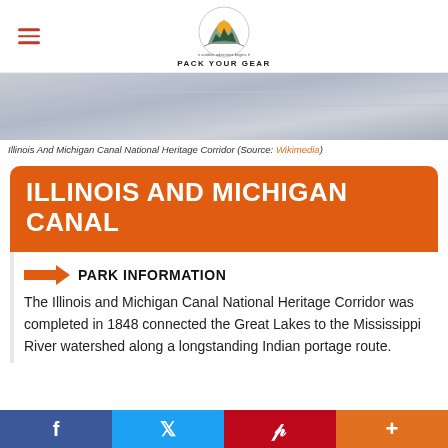PACK YOUR GEAR
[Figure (photo): Aerial or landscape photo of Illinois And Michigan Canal National Heritage Corridor, showing water and sky in muted grey-blue tones.]
Illinois And Michigan Canal National Heritage Corridor (Source: Wikimedia)
ILLINOIS AND MICHIGAN CANAL
PARK INFORMATION
The Illinois and Michigan Canal National Heritage Corridor was completed in 1848 connected the Great Lakes to the Mississippi River watershed along a longstanding Indian portage route.
f   Twitter   P   +